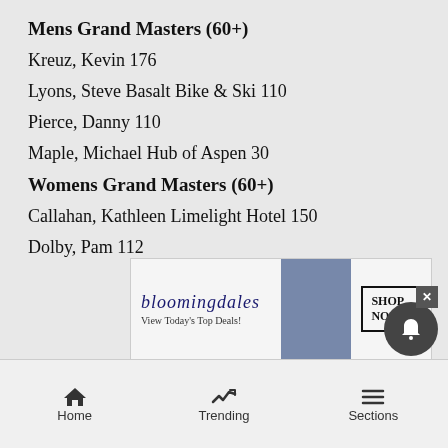Mens Grand Masters (60+)
Kreuz, Kevin 176
Lyons, Steve Basalt Bike & Ski 110
Pierce, Danny 110
Maple, Michael Hub of Aspen 30
Womens Grand Masters (60+)
Callahan, Kathleen Limelight Hotel 150
Dolby, Pam 112
Mens Super Grand Masters (70+)
Jones,
Home   Trending   Sections